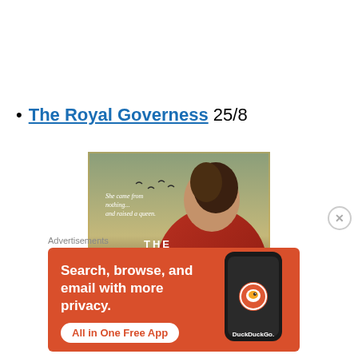The Royal Governess 25/8
[Figure (illustration): Book cover of 'The Royal Governess' showing a woman's back with braided hair, wearing a red coat, with text 'She came from nothing... and raised a queen.' and title 'THE ROYAL' visible]
Advertisements
[Figure (screenshot): DuckDuckGo advertisement banner with orange background. Text: 'Search, browse, and email with more privacy. All in One Free App' with a phone showing DuckDuckGo logo and 'DuckDuckGo.' brand name.]